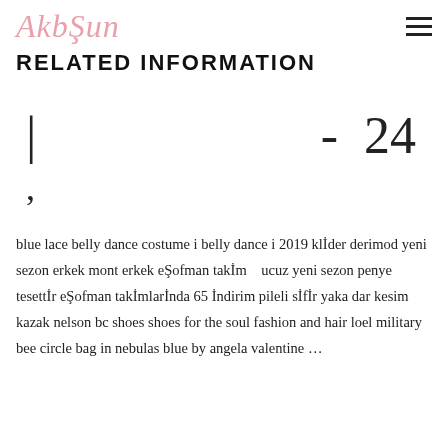AkbŞun
RELATED INFORMATION
| - 24
,
blue lace belly dance costume i belly dance i 2019 klİder derimod yeni sezon erkek mont erkek eŞofman takİm   ucuz yeni sezon penye tesettİr eŞofman takİmlarİnda 65 İndirim pileli sİfİr yaka dar kesim kazak nelson bc shoes shoes for the soul fashion and hair loel military bee circle bag in nebulas blue by angela valentine ...